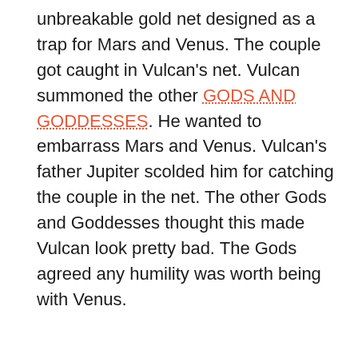unbreakable gold net designed as a trap for Mars and Venus. The couple got caught in Vulcan's net. Vulcan summoned the other GODS AND GODDESSES. He wanted to embarrass Mars and Venus. Vulcan's father Jupiter scolded him for catching the couple in the net. The other Gods and Goddesses thought this made Vulcan look pretty bad. The Gods agreed any humility was worth being with Venus.